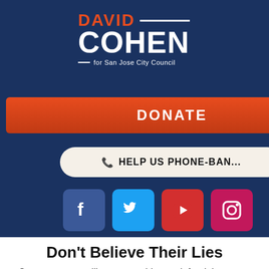[Figure (screenshot): David Cohen for San Jose City Council campaign navigation with logo, donate button, phone bank button, social media icons (Facebook, Twitter, YouTube, Instagram), and COVID-19 Resources button on dark navy background]
Don't Believe Their Lies
Our opponents will stop at nothing to defend the status quo in San Jose